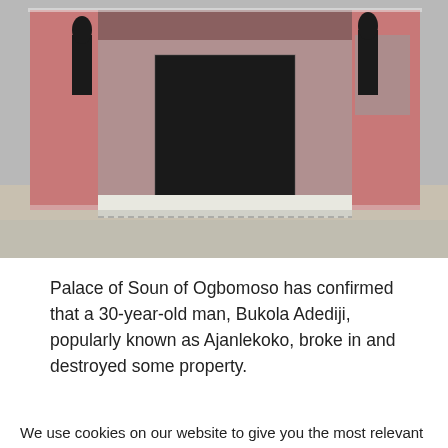[Figure (photo): Exterior of the Palace of Soun of Ogbomoso — a pink brick building with large front entrance, steps with white decorative border, and dark statues on either side of the entrance. The photograph is taken from a front-facing angle showing the building facade.]
Palace of Soun of Ogbomoso has confirmed that a 30-year-old man, Bukola Adediji, popularly known as Ajanlekoko, broke in and destroyed some property.
We use cookies on our website to give you the most relevant experience by remembering your preferences and repeat visits. By clicking “Accept All”, you consent to the use of ALL the cookies.
Accept All